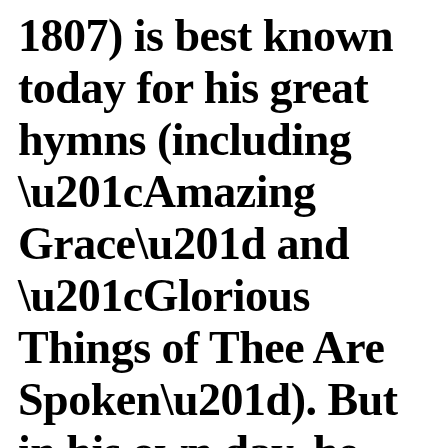1807) is best known today for his great hymns (including “Amazing Grace” and “Glorious Things of Thee Are Spoken”). But in his own day, he was perhaps more highly prized as a